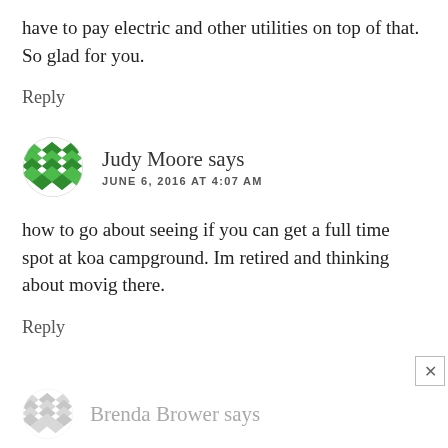have to pay electric and other utilities on top of that. So glad for you.
Reply
[Figure (illustration): Green diamond-pattern avatar for Judy Moore]
Judy Moore says
JUNE 6, 2016 AT 4:07 AM
how to go about seeing if you can get a full time spot at koa campground. Im retired and thinking about movig there.
Reply
[Figure (illustration): Faded/greyed diamond-pattern avatar for Brenda Brower]
Brenda Brower says